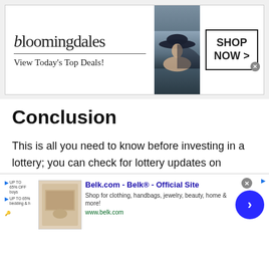[Figure (screenshot): Bloomingdale's advertisement banner: logo text 'bloomingdales', tagline 'View Today's Top Deals!', model with hat, 'SHOP NOW >' button box]
Conclusion
This is all you need to know before investing in a lottery; you can check for lottery updates on platforms that let you check the lottery results on your phone and determine if it's right for you or not based on the odds.
[Figure (screenshot): Belk.com advertisement: 'Belk.com - Belk® - Official Site', 'Shop for clothing, handbags, jewelry, beauty, home & more!', 'www.belk.com', with product image and navigation arrow button]